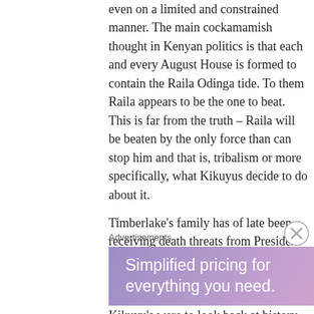even on a limited and constrained manner. The main cockamamish thought in Kenyan politics is that each and every August House is formed to contain the Raila Odinga tide. To them Raila appears to be the one to beat. This is far from the truth – Raila will be beaten by the only force than can stop him and that is, tribalism or more specifically, what Kikuyus decide to do about it.
Timberlake's family has of late been receiving death threats from President Kenyatta's regime Timberlake's family has of late been receiving death threats from President Kenyatta's regime If Kikuyu's were to look back at history, the
Advertisements
[Figure (other): WordPress.com advertisement banner with gradient background (purple to pink to peach) reading 'Simplified pricing for everything you need.' with WordPress.com logo]